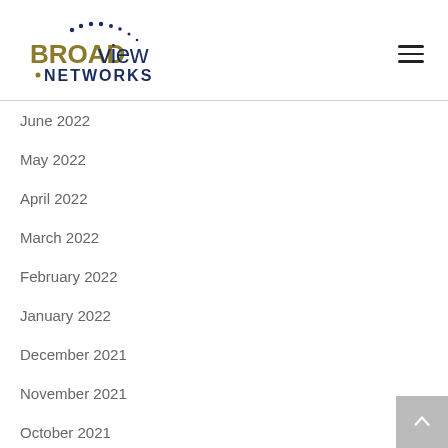[Figure (logo): Broadview Networks logo with dark blue dots arranged in an arc above stylized text reading BROAD in gold/dark blue and view NETWORKS in dark blue]
June 2022
May 2022
April 2022
March 2022
February 2022
January 2022
December 2021
November 2021
October 2021
September 2021
August 2021